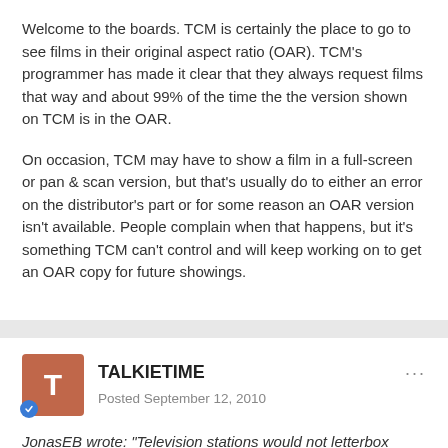Welcome to the boards. TCM is certainly the place to go to see films in their original aspect ratio (OAR). TCM's programmer has made it clear that they always request films that way and about 99% of the time the the version shown on TCM is in the OAR.
On occasion, TCM may have to show a film in a full-screen or pan & scan version, but that's usually do to either an error on the distributor's part or for some reason an OAR version isn't available. People complain when that happens, but it's something TCM can't control and will keep working on to get an OAR copy for future showings.
TALKIETIME
Posted September 12, 2010
JonasEB wrote: "Television stations would not letterbox widescreen films until TCM came around in 1994."